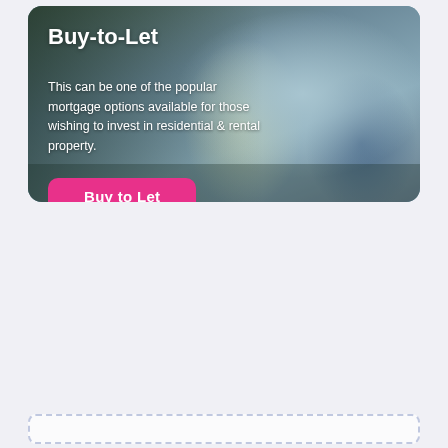[Figure (photo): Photo of people in a real estate or office setting — a woman in a striped top shaking hands, a man in a blue shirt, and another figure in green, with a blurred indoor background. Overlaid with a dark tint on the left side for text legibility.]
Buy-to-Let
This can be one of the popular mortgage options available for those wishing to invest in residential & rental property.
Buy to Let